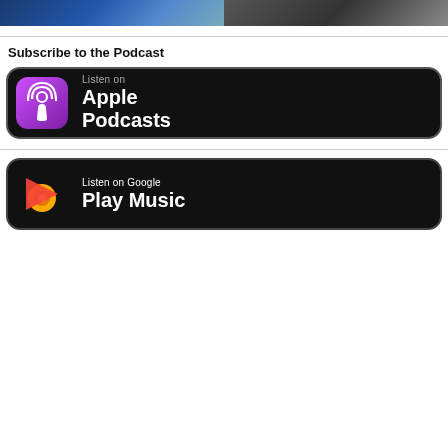[Figure (photo): Two thumbnail images side by side at the top — left is a blue-toned image, right is a dark-toned image]
Subscribe to the Podcast
[Figure (logo): Apple Podcasts badge — black rounded rectangle with purple Apple Podcasts icon on left, 'Listen on Apple Podcasts' text on right in white/gray]
[Figure (logo): Google Play Music badge — black rounded rectangle with Google Play Music multicolor icon on left, 'Listen on Google Play Music' text on right in white]